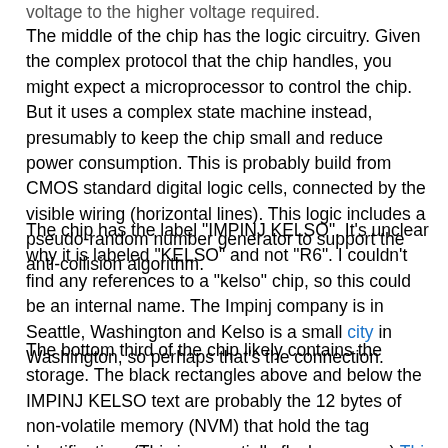voltage to the higher voltage required.
The middle of the chip has the logic circuitry. Given the complex protocol that the chip handles, you might expect a microprocessor to control the chip. But it uses a complex state machine instead, presumably to keep the chip small and reduce power consumption. This is probably build from CMOS standard digital logic cells, connected by the visible wiring (horizontal lines). This logic includes a pseudo-random number generator to support the anti-collision algorithm.
The chip has the label "IMPINJ KELSO". It's unclear why it is labeled "KELSO" and not "R6". I couldn't find any references to a "kelso" chip, so this could be an internal name. The Impinj company is in Seattle, Washington and Kelso is a small city in Washington, so perhaps that's the connection.
The bottom third of the chip likely contains the storage. The black rectangles above and below the IMPINJ KELSO text are probably the 12 bytes of non-volatile memory (NVM) that hold the tag identification. (This is essentially flash memory.) This Impinj patent discusses the NVM system. Writing the